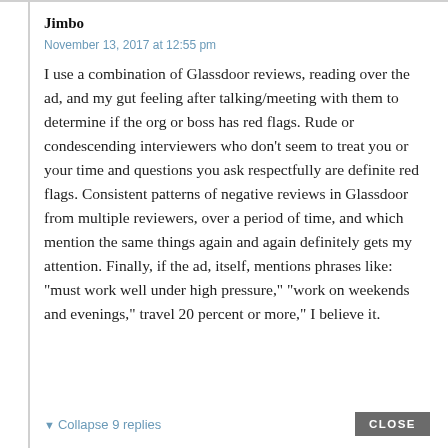Jimbo
November 13, 2017 at 12:55 pm
I use a combination of Glassdoor reviews, reading over the ad, and my gut feeling after talking/meeting with them to determine if the org or boss has red flags. Rude or condescending interviewers who don’t seem to treat you or your time and questions you ask respectfully are definite red flags. Consistent patterns of negative reviews in Glassdoor from multiple reviewers, over a period of time, and which mention the same things again and again definitely gets my attention. Finally, if the ad, itself, mentions phrases like: “must work well under high pressure,” “work on weekends and evenings,” travel 20 percent or more,” I believe it.
Collapse 9 replies
CLOSE